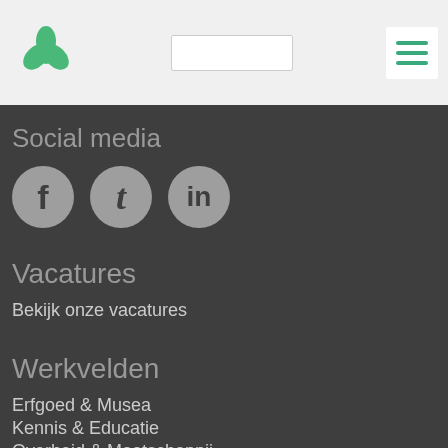[Figure (logo): Green trefoil/clover leaf logo]
[Figure (other): Search input box]
[Figure (other): Hamburger menu button with three green horizontal lines]
Social media
[Figure (other): Social media icons: Facebook (f), Twitter (t), LinkedIn (in) as grey circles]
Vacatures
Bekijk onze vacatures
Werkvelden
Erfgoed & Musea
Kennis & Educatie
Overheid & Maatschappij